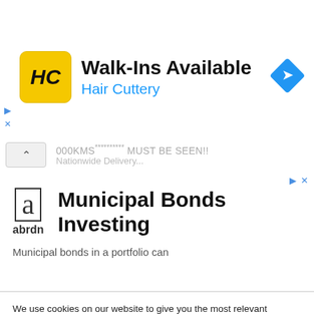[Figure (screenshot): Hair Cuttery ad banner with yellow logo icon, 'Walk-Ins Available' heading, 'Hair Cuttery' subtitle in blue, and blue navigation diamond icon]
000KMS********** MUST BE SEEN!!
Nationwide Delivery...
[Figure (screenshot): abrdn Municipal Bonds Investing advertisement with logo and text 'Municipal bonds in a portfolio can']
We use cookies on our website to give you the most relevant experience by remembering your preferences and repeat visits. By clicking "Accept All", you consent to the use of ALL the cookies. However, you may visit "Cookie Settings" to provide a controlled consent.
Cookie Settings
Accept All